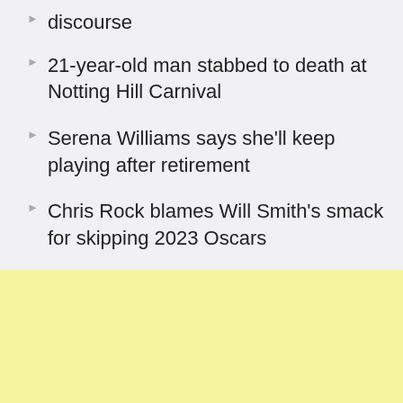discourse
21-year-old man stabbed to death at Notting Hill Carnival
Serena Williams says she'll keep playing after retirement
Chris Rock blames Will Smith's smack for skipping 2023 Oscars
The Schienenzeppelin's 1931 speed record
Michael Jackson's children celebrate his 64th birthday
[Figure (other): Yellow/cream colored advertisement banner at the bottom of the page]